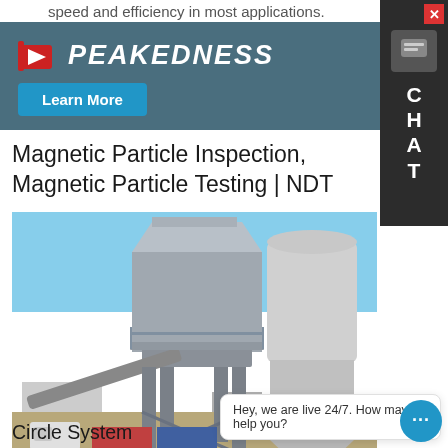speed and efficiency in most applications.
[Figure (logo): Peakedness company advertisement banner with logo and Learn More button on teal background]
Magnetic Particle Inspection, Magnetic Particle Testing | NDT
[Figure (photo): Industrial concrete batching plant with large metal silo and mixing tower structure against a blue sky]
Circle System... manufacturing magnetic inspection particles for